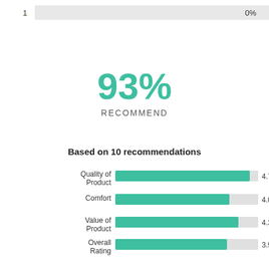[Figure (bar-chart): Based on 10 recommendations]